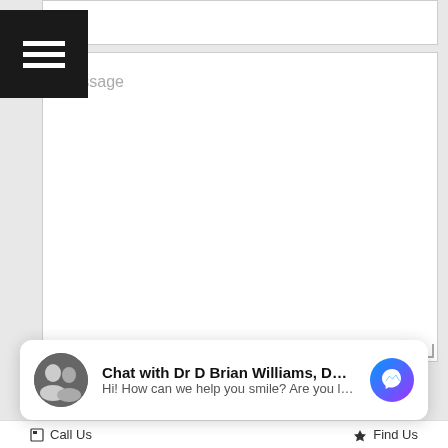[Figure (screenshot): Hamburger menu icon (three white horizontal lines on black background)]
one
Message
SUBMIT
Chat with Dr D Brian Williams, Dds-...
Hi! How can we help you smile? Are you looking t...
Call Us
Find Us